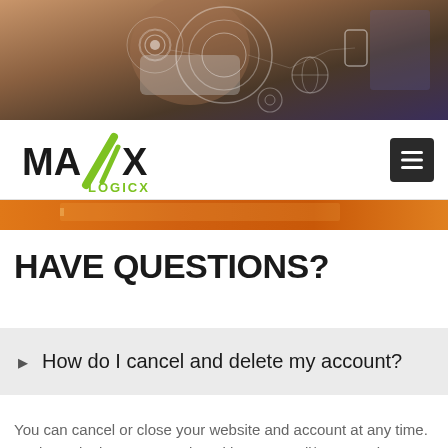[Figure (photo): Hero banner photo of a person holding a tablet with digital technology icons overlaid (WiFi, globe, smartphone, settings icons in circular patterns). Dark blue and brown tones.]
[Figure (logo): MaxLogicx logo: bold black text 'MAX' with a green diagonal slash mark, and 'LOGICX' in green smaller text below the slash.]
[Figure (photo): Partial orange/amber colored banner strip, appears to be a pencil or desk surface photo.]
HAVE QUESTIONS?
How do I cancel and delete my account?
You can cancel or close your website and account at any time. To do so, login to Max Logicx with your email/password